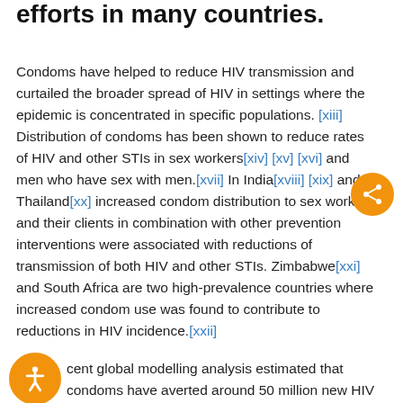efforts in many countries.
Condoms have helped to reduce HIV transmission and curtailed the broader spread of HIV in settings where the epidemic is concentrated in specific populations. [xiii] Distribution of condoms has been shown to reduce rates of HIV and other STIs in sex workers[xiv] [xv] [xvi] and men who have sex with men.[xvii] In India[xviii] [xix] and Thailand[xx] increased condom distribution to sex workers and their clients in combination with other prevention interventions were associated with reductions of transmission of both HIV and other STIs. Zimbabwe[xxi] and South Africa are two high-prevalence countries where increased condom use was found to contribute to reductions in HIV incidence.[xxii]
cent global modelling analysis estimated that condoms have averted around 50 million new HIV